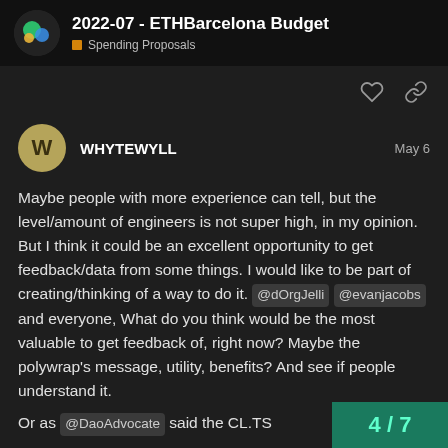2022-07 - ETHBarcelona Budget
Spending Proposals
WHYTEWYLL
May 6
Maybe people with more experience can tell, but the level/amount of engineers is not super high, in my opinion. But I think it could be an excellent opportunity to get feedback/data from some things. I would like to be part of creating/thinking of a way to do it. @dOrgJelli @evanjacobs and everyone, What do you think would be the most valuable to get feedback of, right now? Maybe the polywrap's message, utility, benefits? And see if people understand it.
Or as @DaoAdvocate said the CL.TS
4 / 7